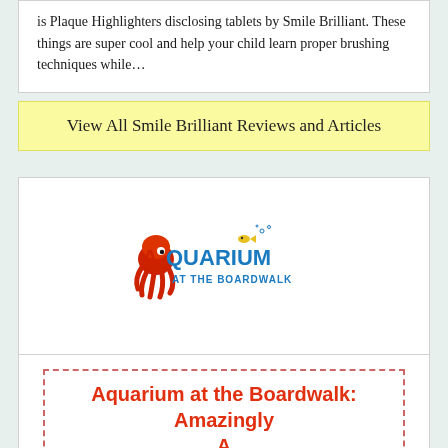is Plaque Highlighters disclosing tablets by Smile Brilliant. These things are super cool and help your child learn proper brushing techniques while…
View All Smile Brilliant Reviews and Articles
[Figure (logo): Aquarium at the Boardwalk logo featuring a red octopus and colorful stylized text]
Aquarium at the Boardwalk: Amazingly A